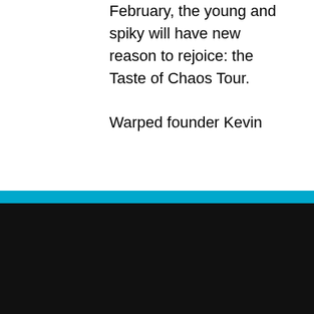But starting in February, the young and spiky will have new reason to rejoice: the Taste of Chaos Tour.

Warped founder Kevin
COOKIE NOTICE
We utilize cookie technology to collect data regarding the number of visits a person has made to our site. This data is stored in aggregate form and is in no way singled out in an individual file. This information allows us to know what pages/sites are of interest to our users and what pages/sites may be of less interest. See more